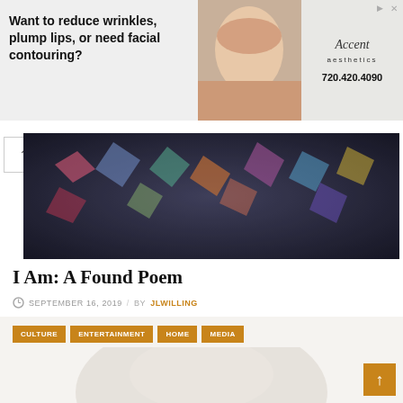[Figure (photo): Advertisement banner: text 'Want to reduce wrinkles, plump lips, or need facial contouring?' with a woman's face photo and Accent Aesthetics logo with phone number 720.420.4090]
[Figure (photo): Colorful abstract hero image with crystals/gems on dark background]
I Am: A Found Poem
SEPTEMBER 16, 2019  /  BY JLWILLING
CULTURE  ENTERTAINMENT  HOME  MEDIA
[Figure (photo): Featured article image, faded/watermarked background photo]